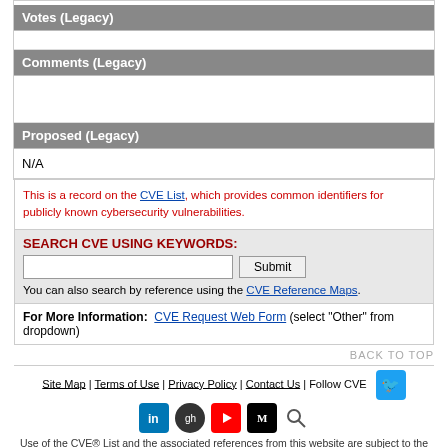| Votes (Legacy) |
|  |
| Comments (Legacy) |
|  |
| Proposed (Legacy) |
| N/A |
This is a record on the CVE List, which provides common identifiers for publicly known cybersecurity vulnerabilities.
SEARCH CVE USING KEYWORDS: [input] Submit
You can also search by reference using the CVE Reference Maps.
For More Information: CVE Request Web Form (select "Other" from dropdown)
BACK TO TOP
Site Map | Terms of Use | Privacy Policy | Contact Us | Follow CVE
Use of the CVE® List and the associated references from this website are subject to the terms of use. CVE is sponsored by the U.S. Department of Homeland